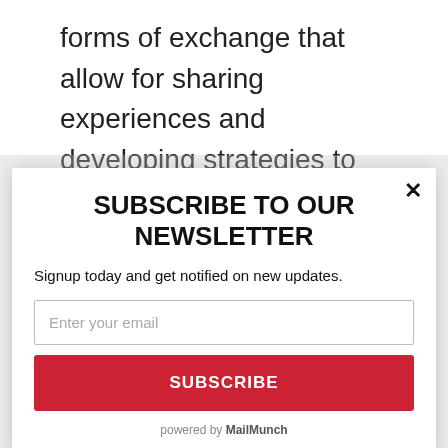forms of exchange that allow for sharing experiences and developing strategies to deal with the specific challenges women face. There is a strong need for a space where the disc...
SUBSCRIBE TO OUR NEWSLETTER
Signup today and get notified on new updates.
Enter your email
SUBSCRIBE
powered by MailMunch